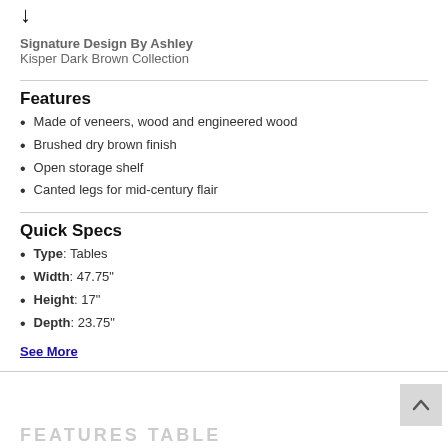Signature Design By Ashley
Kisper Dark Brown Collection
Features
Made of veneers, wood and engineered wood
Brushed dry brown finish
Open storage shelf
Canted legs for mid-century flair
Quick Specs
Type: Tables
Width: 47.75"
Height: 17"
Depth: 23.75"
See More